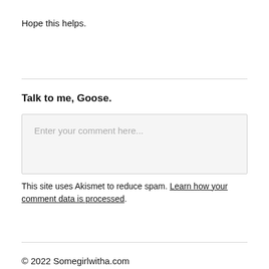Hope this helps.
Talk to me, Goose.
Enter your comment here...
This site uses Akismet to reduce spam. Learn how your comment data is processed.
© 2022 Somegirlwitha.com
Powered by coffee